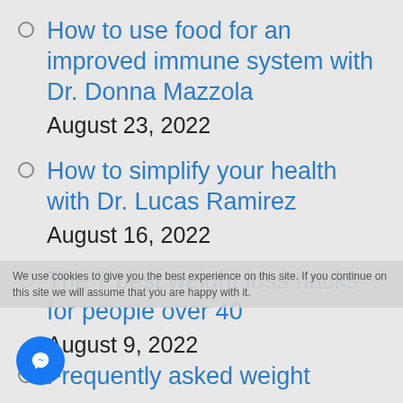How to use food for an improved immune system with Dr. Donna Mazzola
August 23, 2022
How to simplify your health with Dr. Lucas Ramirez
August 16, 2022
The 7 best weight loss hacks for people over 40
August 9, 2022
Frequently asked weight
We use cookies to give you the best experience on this site. If you continue on this site we will assume that you are happy with it.